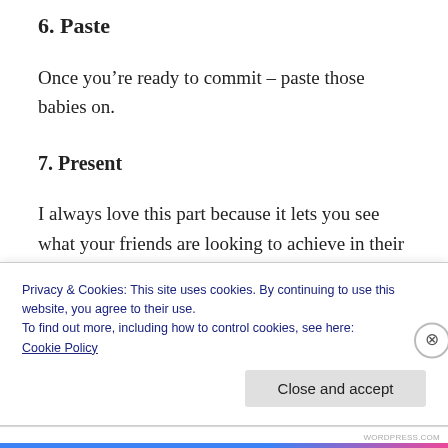6. Paste
Once you’re ready to commit – paste those babies on.
7. Present
I always love this part because it lets you see what your friends are looking to achieve in their lives that you might not realize already. Also, it lets you speak about your vision board
Privacy & Cookies: This site uses cookies. By continuing to use this website, you agree to their use.
To find out more, including how to control cookies, see here: Cookie Policy
Close and accept